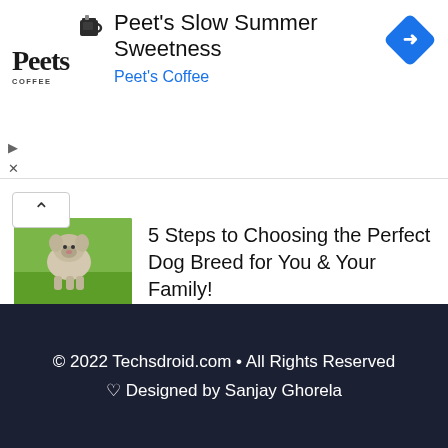[Figure (screenshot): Advertisement banner for Peet's Coffee – Peet's Slow Summer Sweetness, showing Peet's Coffee logo on left, headline text in center, and a blue diamond navigation icon on the right.]
Peet's Slow Summer Sweetness
Peet's Coffee
[Figure (photo): Thumbnail image of a dog (appears to be a fluffy/malamute type breed) on green grass background.]
5 Steps to Choosing the Perfect Dog Breed for You & Your Family!
[Figure (screenshot): Thumbnail image with dark blue background showing a speedometer/gauge graphic indicating streaming speed.]
Suitable Speeds for Streaming Online Platforms
© 2022 Techsdroid.com • All Rights Reserved
♥ Designed by Sanjay Ghorela